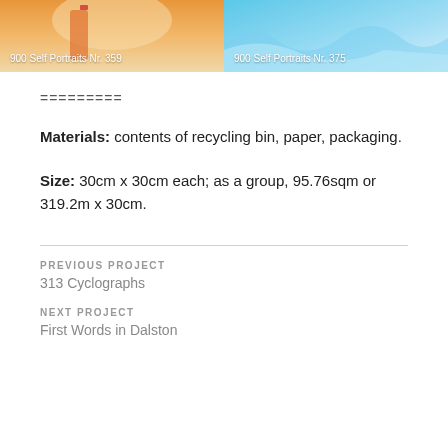[Figure (photo): Two cropped artwork/photo images side by side. Left: warm orange and cream tones. Caption reads '900 Self Portraits Nr. 359'. Right: blue icy/water tones. Caption reads '900 Self Portraits Nr. 375'.]
=========
Materials: contents of recycling bin, paper, packaging.
Size: 30cm x 30cm each; as a group, 95.76sqm or 319.2m x 30cm.
PREVIOUS PROJECT
313 Cyclographs
NEXT PROJECT
First Words in Dalston